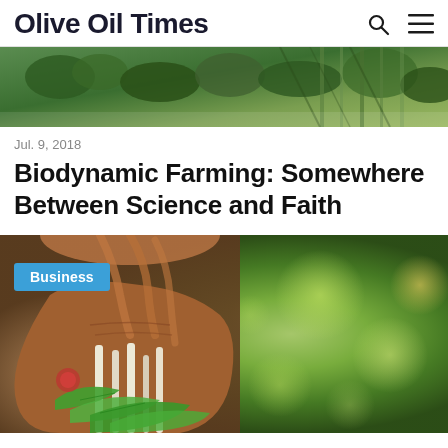Olive Oil Times
[Figure (photo): Aerial or close-up view of olive trees and green foliage in a farm field]
Jul. 9, 2018
Biodynamic Farming: Somewhere Between Science and Faith
[Figure (photo): Hands holding a bunch of freshly harvested green vegetables with roots, with blurred green bokeh background. A blue 'Business' category badge overlays the top-left corner.]